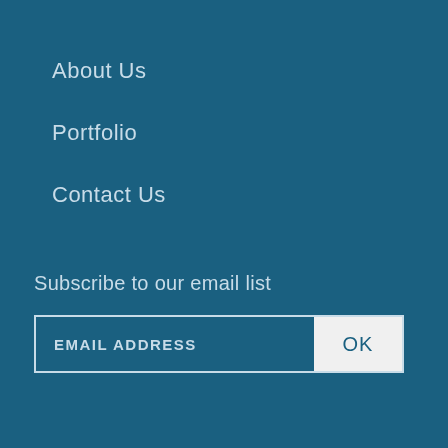About Us
Portfolio
Contact Us
Subscribe to our email list
[Figure (other): Email subscription form with EMAIL ADDRESS placeholder input field and OK button]